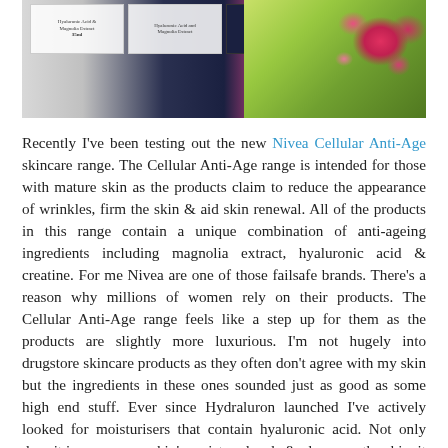[Figure (photo): Photograph of Nivea Cellular Anti-Age skincare product boxes arranged on a white surface with a floral fabric background featuring pink roses and green leaves.]
Recently I've been testing out the new Nivea Cellular Anti-Age skincare range. The Cellular Anti-Age range is intended for those with mature skin as the products claim to reduce the appearance of wrinkles, firm the skin & aid skin renewal. All of the products in this range contain a unique combination of anti-ageing ingredients including magnolia extract, hyaluronic acid & creatine. For me Nivea are one of those failsafe brands. There's a reason why millions of women rely on their products. The Cellular Anti-Age range feels like a step up for them as the products are slightly more luxurious. I'm not hugely into drugstore skincare products as they often don't agree with my skin but the ingredients in these ones sounded just as good as some high end stuff. Ever since Hydraluron launched I've actively looked for moisturisers that contain hyaluronic acid. Not only does it increase your skin's moisture levels & plump up the skin, it helps to keep blemishes at bay as well. Obviously I'm still fairly young but fine lines are starting to creep up on me & prevention is